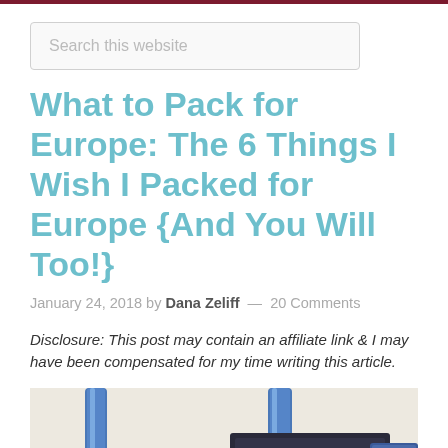Search this website
What to Pack for Europe: The 6 Things I Wish I Packed for Europe {And You Will Too!}
January 24, 2018 by Dana Zeliff — 20 Comments
Disclosure: This post may contain an affiliate link & I may have been compensated for my time writing this article.
[Figure (photo): Close-up photo of blue luggage handles and travel accessories including what appears to be a passport and a clear zip-lock bag with items.]